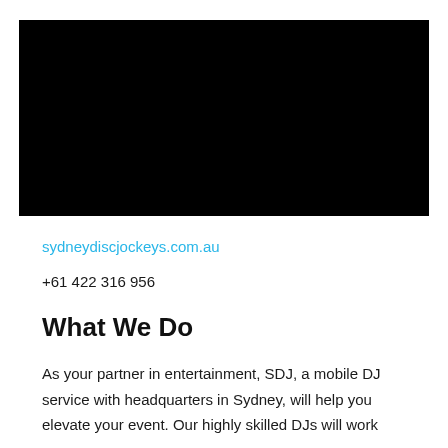[Figure (photo): Black rectangular image area, likely a video thumbnail or photo with no visible content]
sydneydiscjockeys.com.au
+61 422 316 956
What We Do
As your partner in entertainment, SDJ, a mobile DJ service with headquarters in Sydney, will help you elevate your event. Our highly skilled DJs will work